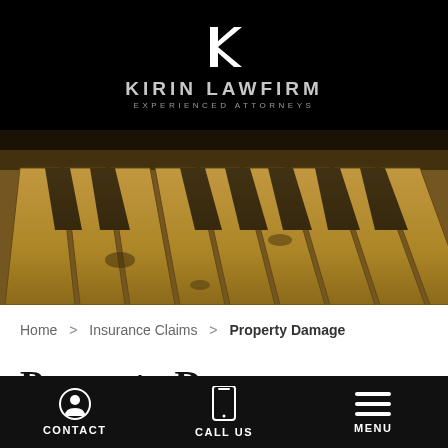KIRIN LAWFIRM — EXPERIENCED ATTORNEYS
[Figure (photo): Sepia-toned photo of damaged, decayed piano keys viewed from above at an angle]
Home > Insurance Claims > Property Damage
Property Damage
CONTACT | CALL US | MENU